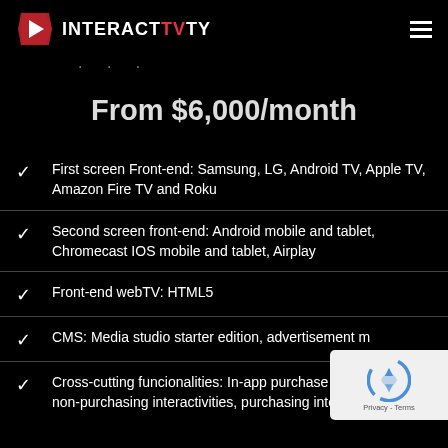INTERACTVTY (logo with hamburger menu)
· · ·
From $6,000/month
First screen Front-end: Samsung, LG, Android TV, Apple TV, Amazon Fire TV and Roku
Second screen front-end: Android mobile and tablet, Chromecast IOS mobile and tablet, Airplay
Front-end webTV: HTML5
CMS: Media studio starter edition, advertisement m…
Cross-cutting funcionalities: In-app purchase purch… non-purchasing interactivities, purchasing interactivities